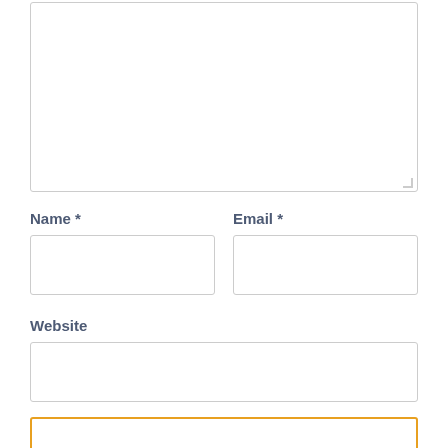[Figure (other): Large textarea input box with resize handle in bottom-right corner]
Name *
Email *
[Figure (other): Text input box for Name field]
[Figure (other): Text input box for Email field]
Website
[Figure (other): Text input box for Website field]
[Figure (other): Input box with orange border, partially visible at bottom]